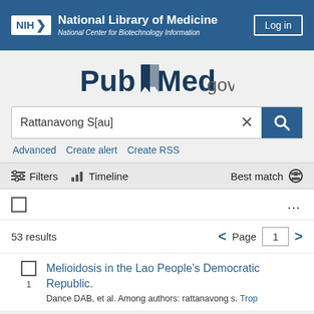[Figure (logo): NIH National Library of Medicine / National Center for Biotechnology Information header with Log in button]
[Figure (logo): PubMed.gov logo]
Rattanavong S[au]
Advanced   Create alert   Create RSS
Filters   Timeline   Best match
53 results   Page 1
Melioidosis in the Lao People's Democratic Republic.
Dance DAB, et al. Among authors: rattanavong s. Trop